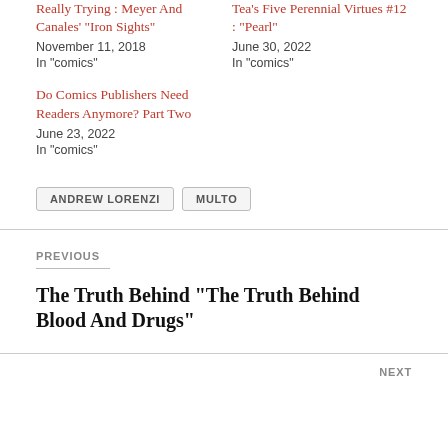Really Trying : Meyer And Canales' "Iron Sights"
November 11, 2018
In "comics"
Tea's  Five Perennial Virtues #12 : "Pearl"
June 30, 2022
In "comics"
Do Comics Publishers Need Readers Anymore? Part Two
June 23, 2022
In "comics"
ANDREW LORENZI
MULTO
PREVIOUS
The Truth Behind “The Truth Behind Blood And Drugs”
NEXT